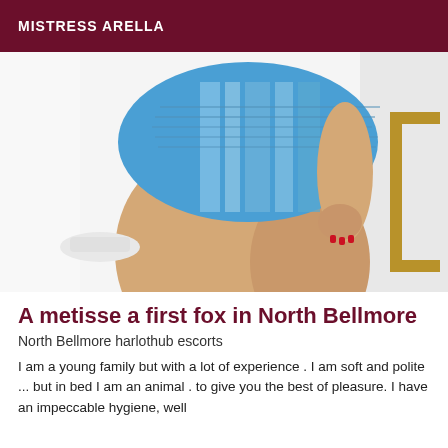MISTRESS ARELLA
[Figure (photo): A woman wearing a blue striped bodycon dress, photographed from behind/side, showing legs and torso. White background with a gold-framed mirror visible at right.]
A metisse a first fox in North Bellmore
North Bellmore harlothub escorts
I am a young family but with a lot of experience . I am soft and polite ... but in bed I am an animal . to give you the best of pleasure. I have an impeccable hygiene, well